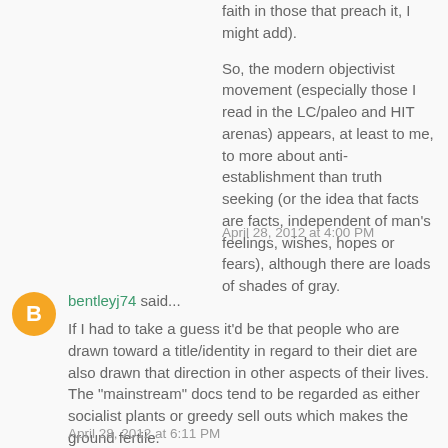faith in those that preach it, I might add).
So, the modern objectivist movement (especially those I read in the LC/paleo and HIT arenas) appears, at least to me, to more about anti-establishment than truth seeking (or the idea that facts are facts, independent of man's feelings, wishes, hopes or fears), although there are loads of shades of gray.
April 28, 2012 at 4:00 PM
bentleyj74 said...
If I had to take a guess it'd be that people who are drawn toward a title/identity in regard to their diet are also drawn that direction in other aspects of their lives. The "mainstream" docs tend to be regarded as either socialist plants or greedy sell outs which makes the ground fertile.
April 28, 2012 at 6:11 PM